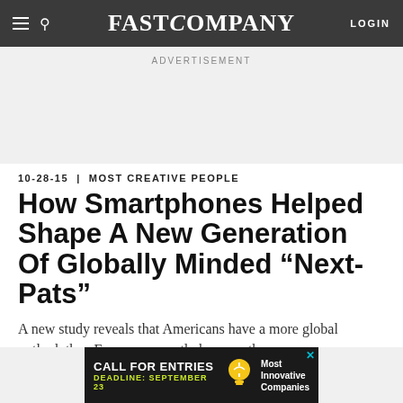FAST COMPANY
ADVERTISEMENT
10-28-15 | MOST CREATIVE PEOPLE
How Smartphones Helped Shape A New Generation Of Globally Minded “Next-Pats”
A new study reveals that Americans have a more global outlook than Europeans, partly because they are more connected through technology.
[Figure (other): Bottom advertisement banner: CALL FOR ENTRIES, DEADLINE: SEPTEMBER 23, Most Innovative Companies, with lightbulb icon]